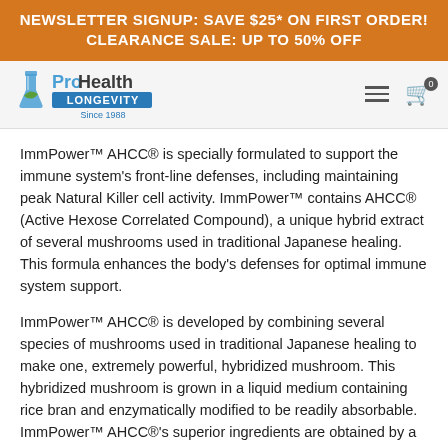NEWSLETTER SIGNUP: SAVE $25* ON FIRST ORDER!
CLEARANCE SALE: UP TO 50% OFF
[Figure (logo): ProHealth Longevity logo with flask and leaf icon, text reads ProHealth LONGEVITY Since 1988]
ImmPower™ AHCC® is specially formulated to support the immune system's front-line defenses, including maintaining peak Natural Killer cell activity. ImmPower™ contains AHCC® (Active Hexose Correlated Compound), a unique hybrid extract of several mushrooms used in traditional Japanese healing. This formula enhances the body's defenses for optimal immune system support.
ImmPower™ AHCC® is developed by combining several species of mushrooms used in traditional Japanese healing to make one, extremely powerful, hybridized mushroom. This hybridized mushroom is grown in a liquid medium containing rice bran and enzymatically modified to be readily absorbable. ImmPower™ AHCC®'s superior ingredients are obtained by a highly specialized cultivation and extraction method, and cannot be found in ordinary mushrooms.